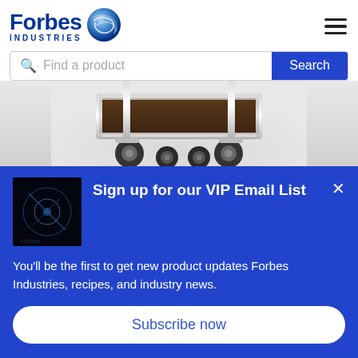[Figure (logo): Forbes Industries logo with globe icon and INDUSTRIES text below]
Find a product
Search
[Figure (photo): Hotel luggage cart / platform trolley with black surface and chrome frame, showing wheels and lower shelf, on light gray background]
[Figure (photo): Small dark thumbnail image with blue light effect]
Sign up for our VIP Email List
You'll be the first to get new product updates Forbes Industries, recipes, and industry news.
Subscribe now